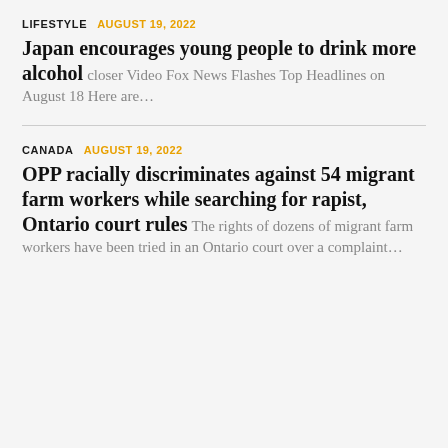LIFESTYLE   AUGUST 19, 2022
Japan encourages young people to drink more alcohol
closer Video Fox News Flashes Top Headlines on August 18 Here are…
CANADA   AUGUST 19, 2022
OPP racially discriminates against 54 migrant farm workers while searching for rapist, Ontario court rules
The rights of dozens of migrant farm workers have been tried in an Ontario court over a complaint…